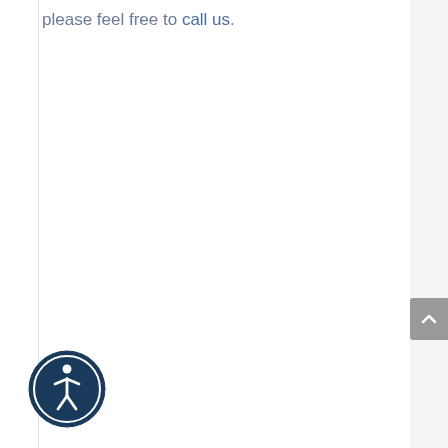please feel free to call us.
[Figure (illustration): Accessibility icon — circular dark navy badge with white human figure (wheelchair accessibility symbol) in center]
[Figure (other): Scroll-to-top button — grey rounded rectangle with upward chevron arrow]